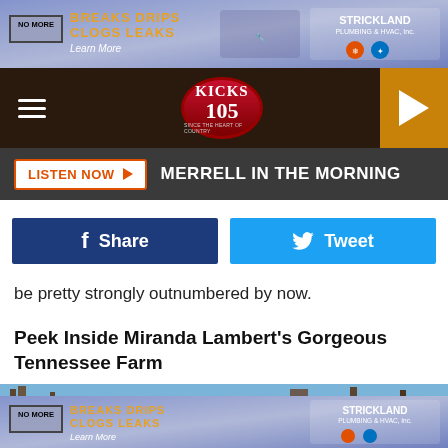[Figure (other): Advertisement banner: NO MORE BREAKS DRIPS CLOGS LEAKS - Strickland Plumbing & HVAC Inc. Learn More]
[Figure (logo): Kicks 105 radio station logo - red oval with white text]
LISTEN NOW ▶ MERRELL IN THE MORNING
[Figure (other): Facebook Share button (dark blue) and Twitter Tweet button (light blue)]
be pretty strongly outnumbered by now.
Peek Inside Miranda Lambert's Gorgeous Tennessee Farm
[Figure (photo): Photo of a farmhouse rooftop with trees and blue sky in background]
[Figure (other): Advertisement banner: NO MORE BREAKS DRIPS CLOGS LEAKS - Strickland Plumbing & HVAC Inc. Learn More]